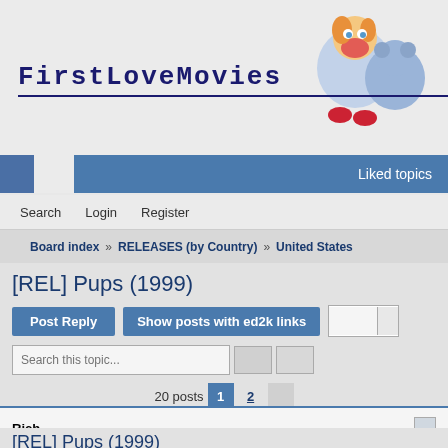[Figure (logo): FirstLoveMovies website logo with cartoon girl and bear mascot]
FirstLoveMovies
Liked topics
Search  Login  Register
Board index  RELEASES (by Country)  United States
[REL] Pups (1999)
Post Reply  Show posts with ed2k links
Search this topic...
20 posts  1  2
Rich
[REL] Pups (1999)